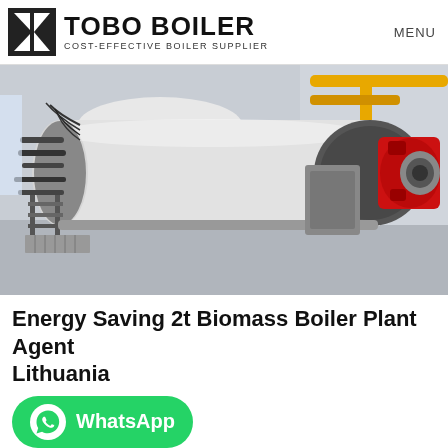TOBO BOILER COST-EFFECTIVE BOILER SUPPLIER | MENU
[Figure (photo): Industrial boiler plant photo showing a large horizontal white cylindrical boiler with red burner assembly on the right side, black pipework on the left, yellow overhead pipes, in an industrial building.]
Energy Saving 2t Biomass Boiler Plant Agent Lithuania
[Figure (logo): WhatsApp button: green rounded rectangle with WhatsApp logo icon and text 'WhatsApp']
Dealer 2t Boiler Machine Energy Saving Ukraine. 2t Biomass Condensing Boiler Industrial Agent Ukraine Oil-